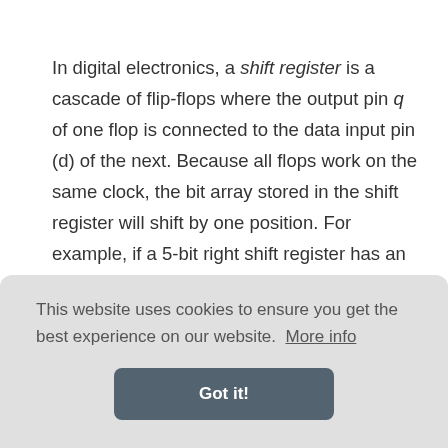In digital electronics, a shift register is a cascade of flip-flops where the output pin q of one flop is connected to the data input pin (d) of the next. Because all flops work on the same clock, the bit array stored in the shift register will shift by one position. For example, if a 5-bit right shift register has an initial value of 10110 and the input to the shift register is tied to 0, then the next pattern will be 01011 and the next 00101.
This website uses cookies to ensure you get the best experience on our website. More info
Got it!